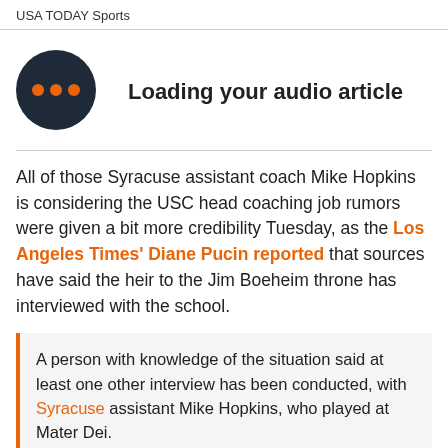USA TODAY Sports
[Figure (other): Dark circular icon with three orange dots (audio/loading indicator), next to bold text 'Loading your audio article']
All of those Syracuse assistant coach Mike Hopkins is considering the USC head coaching job rumors were given a bit more credibility Tuesday, as the Los Angeles Times' Diane Pucin reported that sources have said the heir to the Jim Boeheim throne has interviewed with the school.
A person with knowledge of the situation said at least one other interview has been conducted, with Syracuse assistant Mike Hopkins, who played at Mater Dei.